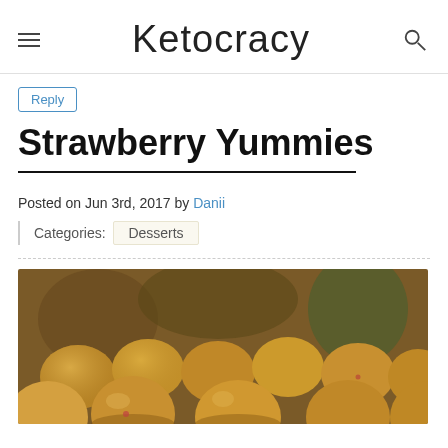Ketocracy
Reply
Strawberry Yummies
Posted on Jun 3rd, 2017 by Danii
Categories: Desserts
[Figure (photo): Close-up photo of round golden-brown fried dough balls (strawberry yummies) on a baking rack, with blurred kitchen background]